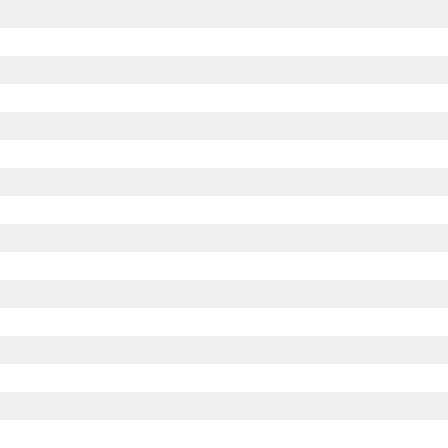| IP Address | Country |
| --- | --- |
| 27.97.241.120 | India |
| 27.97.241.121 | India |
| 27.97.241.122 | India |
| 27.97.241.123 | India |
| 27.97.241.124 | India |
| 27.97.241.125 | India |
| 27.97.241.126 | India |
| 27.97.241.127 | India |
| 27.97.241.128 | D | India |
| 27.97.241.129 | India |
| 27.97.241.130 | India |
| 27.97.241.131 | India |
| 27.97.241.132 | India |
| 27.97.241.133 | India |
| 27.97.241.134 | India |
| 27.97.241.135 | SD | India |
| 27.97.241.136 | India |
| 27.97.241.137 | India |
| 27.97.241.138 | India |
| 27.97.241.139 | India |
| 27.97.241.140 | India |
| 27.97.241.141 | India |
| 27.97.241.142 | S | India |
| 27.97.241.143 | India |